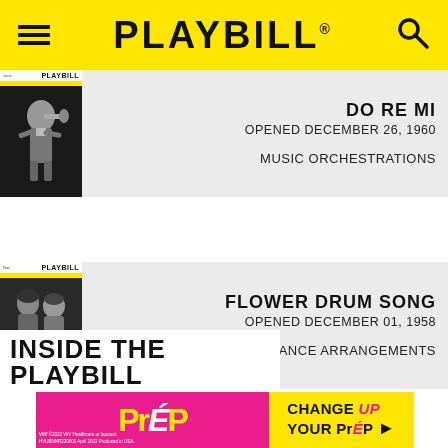PLAYBILL
[Figure (screenshot): Playbill program cover for Do Re Mi, black and white photo]
DO RE MI
OPENED DECEMBER 26, 1960
MUSIC ORCHESTRATIONS
[Figure (screenshot): Playbill program cover for Flower Drum Song, black and white photo of two people]
FLOWER DRUM SONG
OPENED DECEMBER 01, 1958
DANCE ARRANGEMENTS
INSIDE THE PLAYBILL
[Figure (infographic): PrEP advertisement banner - Change Up Your PrEP, pink and yellow ad from ViiV Healthcare]